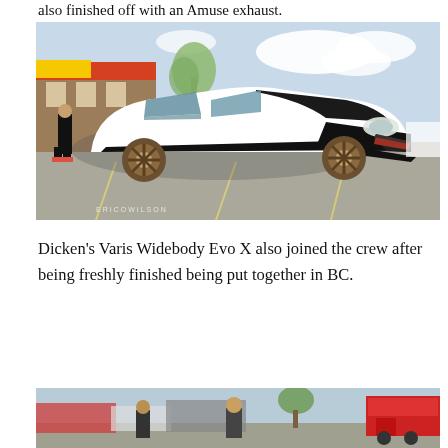also finished off with an Amuse exhaust.
[Figure (photo): White Mitsubishi Lancer Evo X with Varis widebody kit, carbon fiber hood and front bumper accents, bronze wheels, parked in a parking lot at a car show. A building with red and yellow signage is visible in the background along with other cars and people.]
Dicken's Varis Widebody Evo X also joined the crew after being freshly finished being put together in BC.
[Figure (photo): Partial view of a car show parking lot with people walking around and a red food truck visible on the right side.]